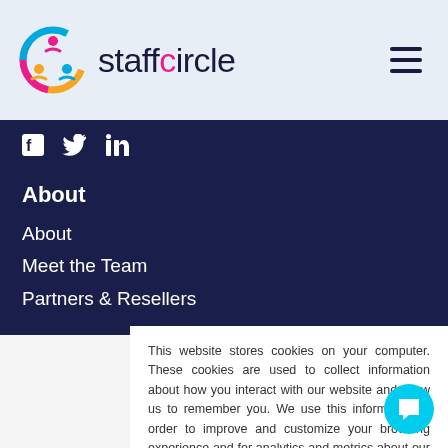[Figure (logo): StaffCircle logo with colorful circular icon and text 'staffcircle']
[Figure (infographic): Hamburger menu icon (three horizontal lines)]
f  twitter  in
About
About
Meet the Team
Partners & Resellers
This website stores cookies on your computer. These cookies are used to collect information about how you interact with our website and allow us to remember you. We use this information in order to improve and customize your browsing experience and for analytics and metrics about our visitors both on this website and other media. To find out more about the cookies we use, see our Privacy Policy.
[Figure (other): Accept button - pink/magenta rounded rectangle button with white text 'Accept']
[Figure (other): Cyan circular chat bubble icon in bottom right corner]